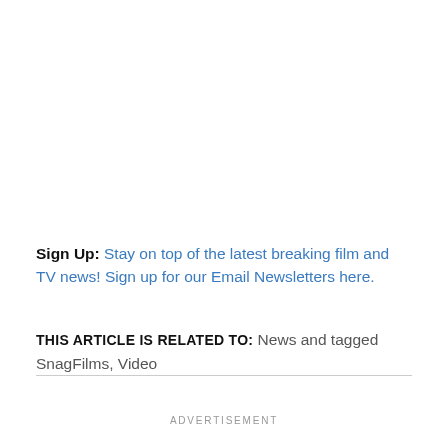Sign Up: Stay on top of the latest breaking film and TV news! Sign up for our Email Newsletters here.
THIS ARTICLE IS RELATED TO: News and tagged SnagFilms, Video
ADVERTISEMENT